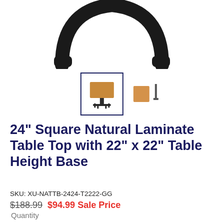[Figure (photo): Black curved table base/armrest component shown at top of product listing page]
[Figure (photo): Two product thumbnail images: selected thumbnail showing a square table with pedestal base (bordered), and alternate thumbnail showing a top-down color swatch view of the natural laminate table top]
24" Square Natural Laminate Table Top with 22" x 22" Table Height Base
SKU: XU-NATTB-2424-T2222-GG
$188.99  $94.99 Sale Price
Quantity